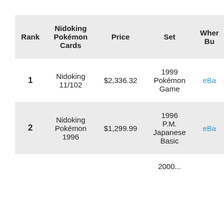| Rank | Nidoking Pokémon Cards | Price | Set | Where to Buy |
| --- | --- | --- | --- | --- |
| 1 | Nidoking 11/102 | $2,336.32 | 1999 Pokémon Game | eBay |
| 2 | Nidoking Pokémon 1996 | $1,299.99 | 1996 P.M. Japanese Basic | eBay |
|  |  |  | 2000... |  |